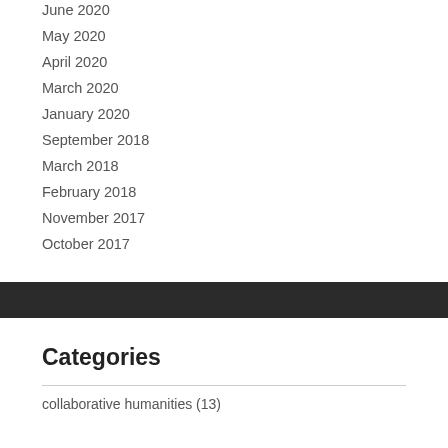June 2020
May 2020
April 2020
March 2020
January 2020
September 2018
March 2018
February 2018
November 2017
October 2017
Categories
collaborative humanities (13)